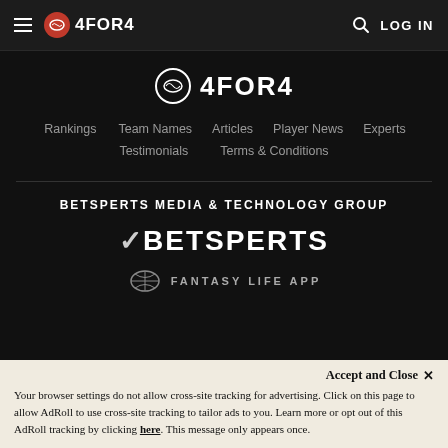4FOR4 — LOG IN
[Figure (logo): 4FOR4 fantasy football logo — center large version with football icon]
Rankings
Team Names
Articles
Player News
Experts
Testimonials
Terms & Conditions
BETSPERTS MEDIA & TECHNOLOGY GROUP
[Figure (logo): BETSPERTS logo in white text with checkmark icon]
[Figure (logo): Fantasy Life App logo with football icon]
Accept and Close ✕
Your browser settings do not allow cross-site tracking for advertising. Click on this page to allow AdRoll to use cross-site tracking to tailor ads to you. Learn more or opt out of this AdRoll tracking by clicking here. This message only appears once.